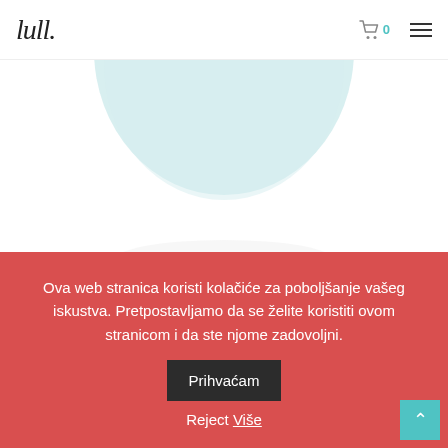lull. (logo) — cart icon with badge 0 — hamburger menu
[Figure (photo): Partial view of a light blue circular wall clock (KANDI) shown from above on white background]
[Figure (other): Carousel navigation dots: one open circle (teal), two filled grey dots]
Zidni sat KANDI
Ova web stranica koristi kolačiće za poboljšanje vašeg iskustva. Pretpostavljamo da se želite koristiti ovom stranicom i da ste njome zadovoljni.
Prihvaćam
Reject Više